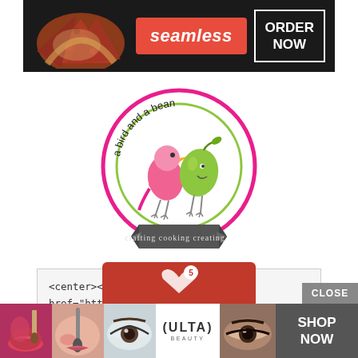[Figure (screenshot): Seamless food delivery banner ad with pizza image on dark background, red Seamless logo, and ORDER NOW button]
[Figure (logo): A Bird and a Bean blog logo: circular badge with pink bird and green bean characters, pink and green border, text 'a bird and a bean' and banner reading 'crafting cooking creating']
<center><a href="http://abirdandabean.com/"><img border="0" src="http://abirdandabean.com/wp-content/uploads/2013/02/abaab150-copy.png"/>
[Figure (screenshot): Partial red popup and Ulta Beauty banner ad at bottom with beauty product imagery, Ulta logo, CLOSE button, and SHOP NOW button]